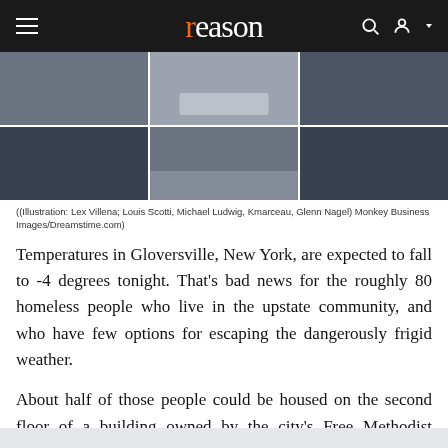reason
[Figure (photo): Photo collage showing homeless shelter beds and people in cold weather, arranged in a 3x2 grid]
((Illustration: Lex Villena; Louis Scotti, Michael Ludwig, Kmarceau, Glenn Nagel) Monkey Business Images/Dreamstime.com)
Temperatures in Gloversville, New York, are expected to fall to -4 degrees tonight. That's bad news for the roughly 80 homeless people who live in the upstate community, and who have few options for escaping the dangerously frigid weather.
About half of those people could be housed on the second floor of a building owned by the city's Free Methodist Church, where 40 empty beds sit ready to welcome people in from the cold.